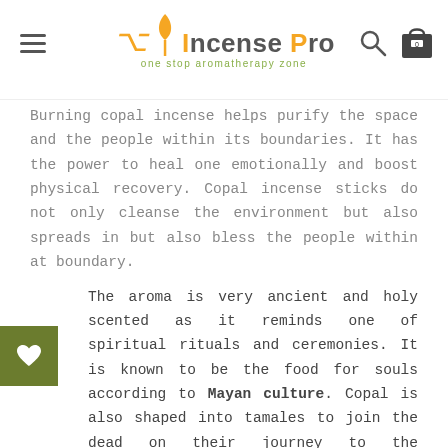Incense Pro — one stop aromatherapy zone
Burning copal incense helps purify the space and the people within its boundaries. It has the power to heal one emotionally and boost physical recovery. Copal incense sticks do not only cleanse the environment but also spreads in but also bless the people within at boundary.
The aroma is very ancient and holy scented as it reminds one of spiritual rituals and ceremonies. It is known to be the food for souls according to Mayan culture. Copal is also shaped into tamales to join the dead on their journey to the hereafter.
Used for spiritual rituals
It spreads blessings
It has a very ancient woody scent